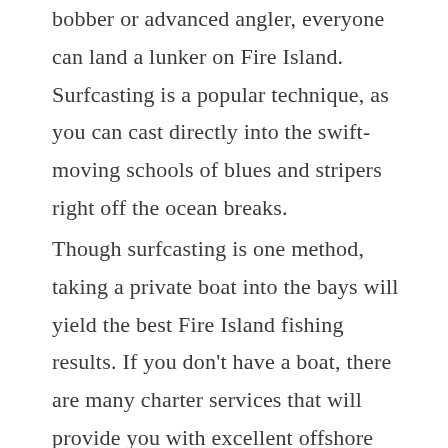bobber or advanced angler, everyone can land a lunker on Fire Island. Surfcasting is a popular technique, as you can cast directly into the swift-moving schools of blues and stripers right off the ocean breaks.
Though surfcasting is one method, taking a private boat into the bays will yield the best Fire Island fishing results. If you don't have a boat, there are many charter services that will provide you with excellent offshore fishing around the Fire Island bays. Deep-sea offshore fishing, via charter boat, can yield an